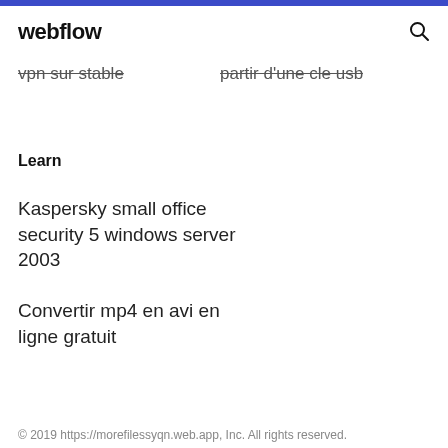webflow
vpn sur stable
partir d'une cle usb
Learn
Kaspersky small office security 5 windows server 2003
Convertir mp4 en avi en ligne gratuit
© 2019 https://morefilessyqn.web.app, Inc. All rights reserved.